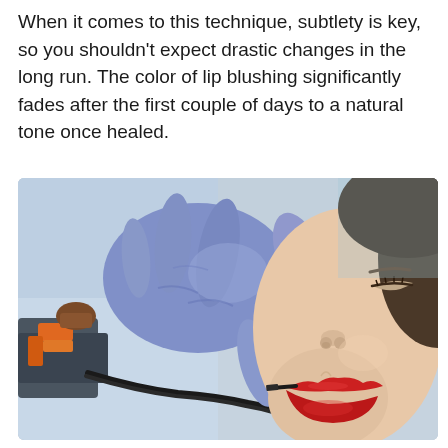When it comes to this technique, subtlety is key, so you shouldn't expect drastic changes in the long run. The color of lip blushing significantly fades after the first couple of days to a natural tone once healed.
[Figure (photo): A close-up photo of a lip blushing cosmetic tattoo procedure. A gloved hand wearing purple/blue latex gloves holds a tattoo machine applying red pigment to a woman's lips. The woman is lying down with eyes closed. A tattoo machine with orange and black parts is visible on the left side.]